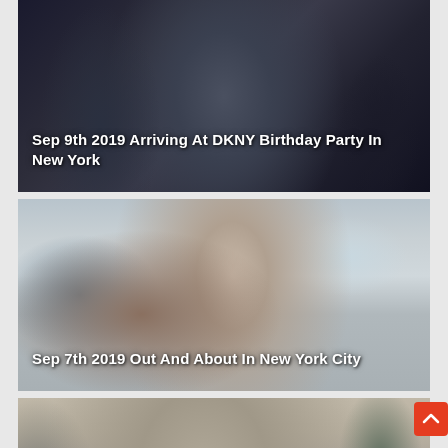[Figure (photo): Nighttime photo of a woman in a dark satin blazer arriving at an event, with a man in a dark t-shirt to her left and another person in background on the right.]
Sep 9th 2019 Arriving At DKNY Birthday Party In New York
[Figure (photo): Daytime street photo of a woman in a black top adjusting dark sunglasses, with an orange bag strap visible, in New York City.]
Sep 7th 2019 Out And About In New York City
[Figure (photo): Outdoor photo of a woman in a black outfit, partially visible, with a building and greenery in background.]